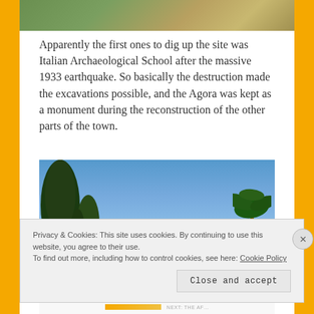[Figure (photo): Partial view of an archaeological site with rocky terrain, vegetation, and yellow/beige tones visible at the top of the page.]
Apparently the first ones to dig up the site was Italian Archaeological School after the massive 1933 earthquake. So basically the destruction made the excavations possible, and the Agora was kept as a monument during the reconstruction of the other parts of the town.
[Figure (photo): Outdoor photo showing tall cypress and palm trees against a bright blue sky, likely at an archaeological site.]
Privacy & Cookies: This site uses cookies. By continuing to use this website, you agree to their use.
To find out more, including how to control cookies, see here: Cookie Policy
Close and accept